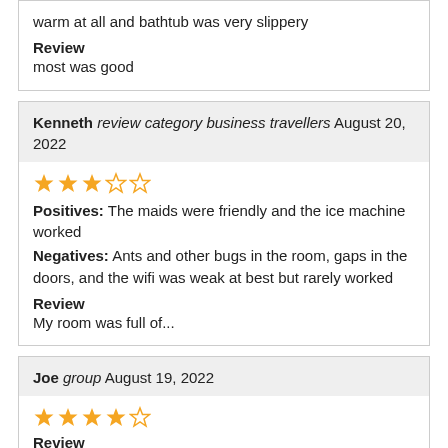warm at all and bathtub was very slippery
Review
most was good
Kenneth review category business travellers August 20, 2022
[Figure (other): 2.5 out of 5 stars rating]
Positives: The maids were friendly and the ice machine worked
Negatives: Ants and other bugs in the room, gaps in the doors, and the wifi was weak at best but rarely worked
Review
My room was full of...
Joe group August 19, 2022
[Figure (other): 4 out of 5 stars rating]
Review
Very good